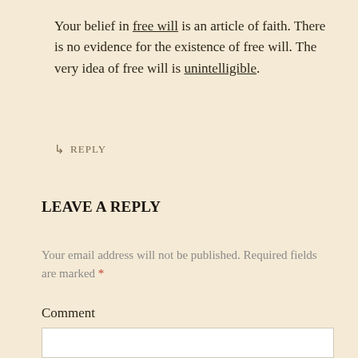Your belief in free will is an article of faith. There is no evidence for the existence of free will. The very idea of free will is unintelligible.
↳ REPLY
LEAVE A REPLY
Your email address will not be published. Required fields are marked *
Comment